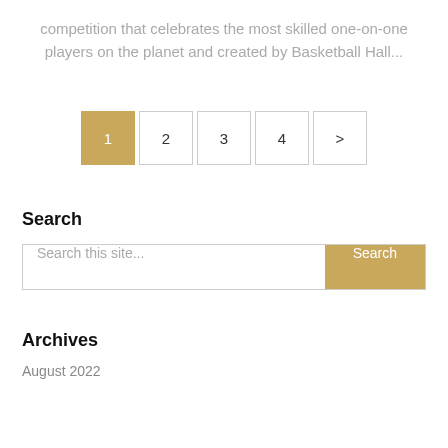competition that celebrates the most skilled one-on-one players on the planet and created by Basketball Hall...
[Figure (other): Pagination control with pages 1 (active, gold), 2, 3, 4, and a next arrow button]
Search
[Figure (other): Search bar with placeholder 'Search this site...' and a gold Search button]
Archives
August 2022